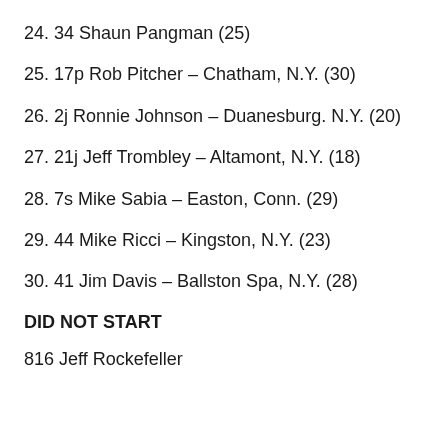24. 34 Shaun Pangman (25)
25. 17p Rob Pitcher – Chatham, N.Y. (30)
26. 2j Ronnie Johnson – Duanesburg. N.Y. (20)
27. 21j Jeff Trombley – Altamont, N.Y. (18)
28. 7s Mike Sabia – Easton, Conn. (29)
29. 44 Mike Ricci – Kingston, N.Y. (23)
30. 41 Jim Davis – Ballston Spa, N.Y. (28)
DID NOT START
816 Jeff Rockefeller